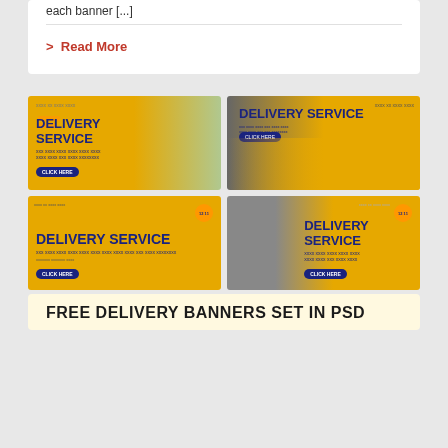each banner [...]
> Read More
[Figure (illustration): Four yellow delivery service banner ads arranged in a 2x2 grid. Each banner features delivery workers in yellow shirts, dark blue bold text reading DELIVERY SERVICE, small subtitle text, and a CLICK HERE button. The banners have yellow/orange backgrounds with photo elements of delivery personnel.]
FREE DELIVERY BANNERS SET IN PSD